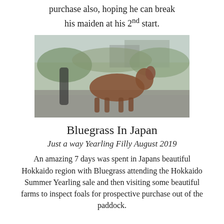purchase also, hoping he can break his maiden at his 2nd start.
[Figure (photo): A blurry photograph of a horse (appears brown/chestnut) in an outdoor paddock or field setting, with green foliage visible in the background.]
Bluegrass In Japan
Just a way Yearling Filly August 2019
An amazing 7 days was spent in Japans beautiful Hokkaido region with Bluegrass attending the Hokkaido Summer Yearling sale and then visiting some beautiful farms to inspect foals for prospective purchase out of the paddock.